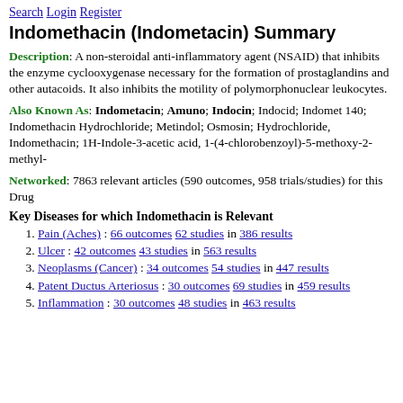Search Login Register
Indomethacin (Indometacin) Summary
Description: A non-steroidal anti-inflammatory agent (NSAID) that inhibits the enzyme cyclooxygenase necessary for the formation of prostaglandins and other autacoids. It also inhibits the motility of polymorphonuclear leukocytes.
Also Known As: Indometacin; Amuno; Indocin; Indocid; Indomet 140; Indomethacin Hydrochloride; Metindol; Osmosin; Hydrochloride, Indomethacin; 1H-Indole-3-acetic acid, 1-(4-chlorobenzoyl)-5-methoxy-2-methyl-
Networked: 7863 relevant articles (590 outcomes, 958 trials/studies) for this Drug
Key Diseases for which Indomethacin is Relevant
Pain (Aches) : 66 outcomes 62 studies in 386 results
Ulcer : 42 outcomes 43 studies in 563 results
Neoplasms (Cancer) : 34 outcomes 54 studies in 447 results
Patent Ductus Arteriosus : 30 outcomes 69 studies in 459 results
Inflammation : 30 outcomes 48 studies in 463 results